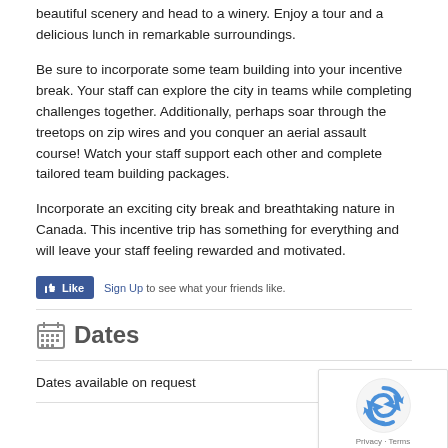beautiful scenery and head to a winery. Enjoy a tour and a delicious lunch in remarkable surroundings.
Be sure to incorporate some team building into your incentive break. Your staff can explore the city in teams while completing challenges together. Additionally, perhaps soar through the treetops on zip wires and you conquer an aerial assault course! Watch your staff support each other and complete tailored team building packages.
Incorporate an exciting city break and breathtaking nature in Canada. This incentive trip has something for everything and will leave your staff feeling rewarded and motivated.
[Figure (other): Facebook Like button with Sign Up link text: 'to see what your friends like.']
Dates
Dates available on request
[Figure (other): reCAPTCHA badge with Privacy and Terms links]